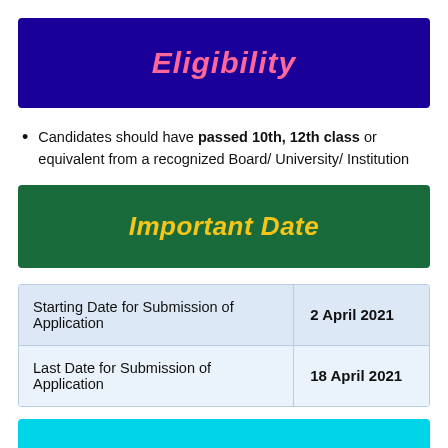Eligibility
Candidates should have passed 10th, 12th class or equivalent from a recognized Board/ University/ Institution
Important Date
|  |  |
| --- | --- |
| Starting Date for Submission of Application | 2 April 2021 |
| Last Date for Submission of Application | 18 April 2021 |